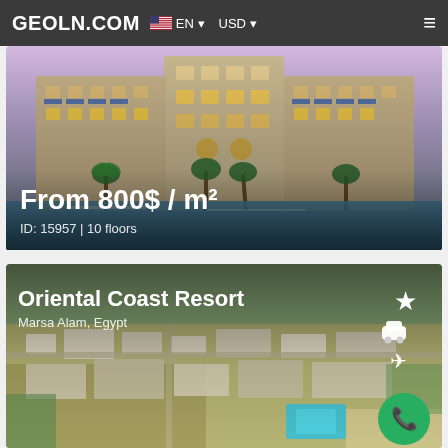GEOLN.COM EN USD
[Figure (photo): Luxury residential building exterior with arched windows, blue awnings, palm trees and pool at dusk. Price overlay: From 800$ / m², ID: 15957 | 10 floors]
[Figure (photo): Aerial view of Oriental Coast Resort in Marsa Alam, Egypt showing resort buildings, beach, and turquoise pool area]